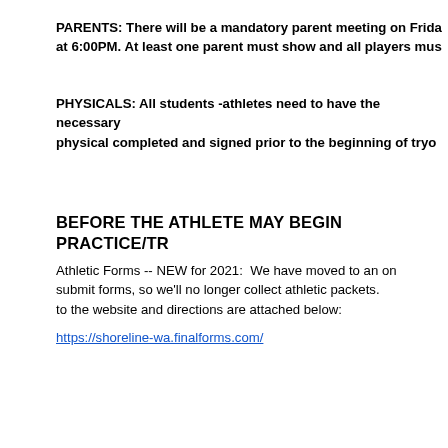PARENTS: There will be a mandatory parent meeting on Friday at 6:00PM. At least one parent must show and all players must
PHYSICALS: All students -athletes need to have the necessary physical completed and signed prior to the beginning of tryouts
BEFORE THE ATHLETE MAY BEGIN PRACTICE/TR
Athletic Forms -- NEW for 2021:  We have moved to an online system to submit forms, so we'll no longer collect athletic packets. A link to the website and directions are attached below:
https://shoreline-wa.finalforms.com/